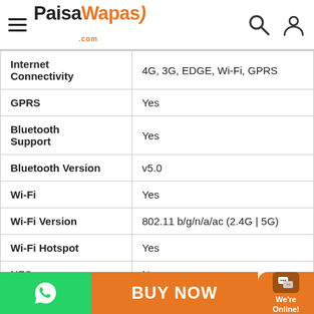PaisaWapas.com
| Feature | Value |
| --- | --- |
| Internet Connectivity | 4G, 3G, EDGE, Wi-Fi, GPRS |
| GPRS | Yes |
| Bluetooth Support | Yes |
| Bluetooth Version | v5.0 |
| Wi-Fi | Yes |
| Wi-Fi Version | 802.11 b/g/n/a/ac (2.4G | 5G) |
| Wi-Fi Hotspot | Yes |
| NFC | No |
BUY NOW | We're Online!